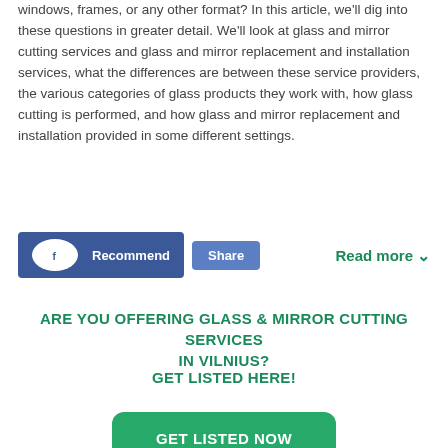windows, frames, or any other format? In this article, we'll dig into these questions in greater detail. We'll look at glass and mirror cutting services and glass and mirror replacement and installation services, what the differences are between these service providers, the various categories of glass products they work with, how glass cutting is performed, and how glass and mirror replacement and installation provided in some different settings.
Recommend  Share  Read more
ARE YOU OFFERING GLASS & MIRROR CUTTING SERVICES IN VILNIUS? GET LISTED HERE!
GET LISTED NOW